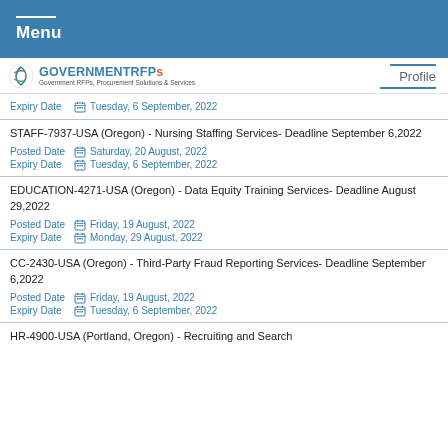Menu
[Figure (logo): GOVERNMENTRFPs logo with tagline 'Government RFPs, Procurement Solutions & Services' and Profile link]
Expiry Date  Tuesday, 6 September, 2022
STAFF-7937-USA (Oregon) - Nursing Staffing Services- Deadline September 6,2022
Posted Date  Saturday, 20 August, 2022
Expiry Date  Tuesday, 6 September, 2022
EDUCATION-4271-USA (Oregon) - Data Equity Training Services- Deadline August 29,2022
Posted Date  Friday, 19 August, 2022
Expiry Date  Monday, 29 August, 2022
CC-2430-USA (Oregon) - Third-Party Fraud Reporting Services- Deadline September 6,2022
Posted Date  Friday, 19 August, 2022
Expiry Date  Tuesday, 6 September, 2022
HR-4900-USA (Portland, Oregon) - Recruiting and Search...